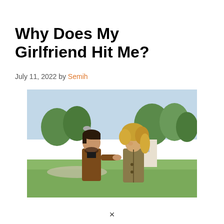Why Does My Girlfriend Hit Me?
July 11, 2022 by Semih
[Figure (photo): A man and a woman standing facing each other outdoors in a park, appearing to be in an argument. The man is wearing a brown leather jacket and the woman has curly blonde hair and a khaki jacket. Trees and grass are visible in the background.]
×